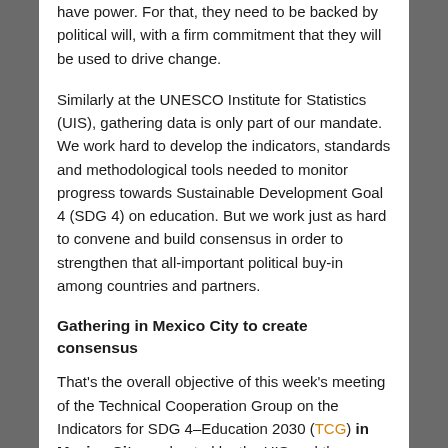have power. For that, they need to be backed by political will, with a firm commitment that they will be used to drive change.
Similarly at the UNESCO Institute for Statistics (UIS), gathering data is only part of our mandate. We work hard to develop the indicators, standards and methodological tools needed to monitor progress towards Sustainable Development Goal 4 (SDG 4) on education. But we work just as hard to convene and build consensus in order to strengthen that all-important political buy-in among countries and partners.
Gathering in Mexico City to create consensus
That's the overall objective of this week's meeting of the Technical Cooperation Group on the Indicators for SDG 4–Education 2030 (TCG) in Mexico City, co-hosted by the UIS and the Instituto Nacional para la Evaluación de la Educación (INEE). National representatives and global experts will come together from 15 to 16 November to agree on the most practical approaches to measure